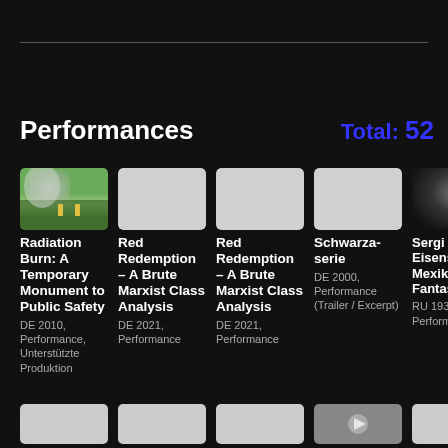Performances
Total: 52
[Figure (photo): Outdoor scene with smoke and two small yellow figures on green grass — thumbnail for Radiation Burn: A Temporary Monument to Public Safety]
Radiation Burn: A Temporary Monument to Public Safety
DE 2010, Performance, Unterstützte Produktion
[Figure (photo): Grey/blank thumbnail for Red Redemption – A Brute Marxist Class Analysis]
Red Redemption – A Brute Marxist Class Analysis
DE 2021, Performance
[Figure (photo): Grey/blank thumbnail for Red Redemption – A Brute Marxist Class Analysis (second instance)]
Red Redemption – A Brute Marxist Class Analysis
DE 2021, Performance
[Figure (photo): Grey/blank thumbnail for Schwarzaserie]
Schwarzaserie
DE 2000, Performance (Trailer / Excerpt)
[Figure (photo): Black-and-white close-up portrait thumbnail for Sergi Eisenstein. Mexikansk Fantasija]
Sergi Eisenstein. Mexikansk Fantasija
RU 1930, Film, Performance
[Figure (photo): Bottom row thumbnail 1 – grey blank]
[Figure (photo): Bottom row thumbnail 2 – grey blank]
[Figure (photo): Bottom row thumbnail 3 – grey blank]
[Figure (photo): Bottom row thumbnail 4 – grey with play button icon]
[Figure (photo): Bottom row thumbnail 5 – grey blank]